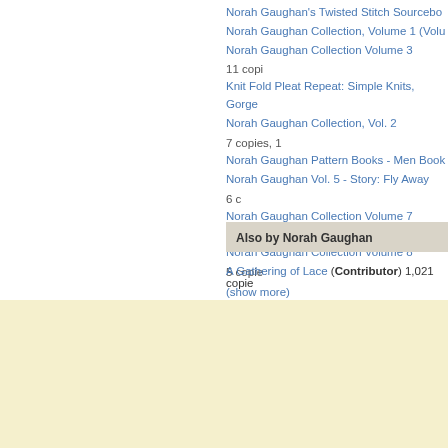Norah Gaughan's Twisted Stitch Sourcebo...
Norah Gaughan Collection, Volume 1 (Volu...
Norah Gaughan Collection Volume 3 11 copi...
Knit Fold Pleat Repeat: Simple Knits, Gorge...
Norah Gaughan Collection, Vol. 2 7 copies, 1...
Norah Gaughan Pattern Books - Men Book...
Norah Gaughan Vol. 5 - Story: Fly Away 6 c...
Norah Gaughan Collection Volume 7 6 copie...
Norah Gaughan Collection Volume 8 5 copie...
(show more)
Also by Norah Gaughan
A Gathering of Lace (Contributor) 1,021 copies...
This site uses cookies to deliver our services, improve performance, for analytics, and (if not signed in) for advertising. By using LibraryThing you acknowledge that you have read and understand our Terms of Service and Privacy Policy. Your use of the site and services is subject to these policies and terms.
I Agree